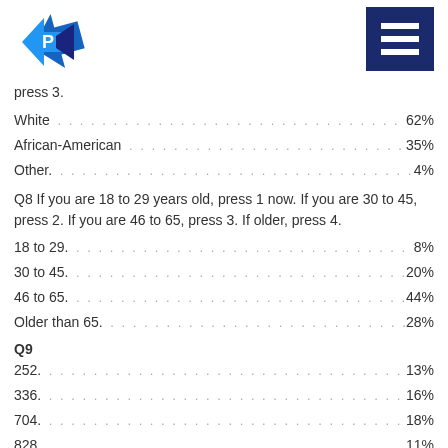[Figure (logo): Blue diamond/arrow logo with letter P]
[Figure (other): Navy blue hamburger menu button with three white horizontal lines]
press 3.
White . . . . . . . . . . . . . . . . . . . . . . . . . . . . . . . . . . . . . . . . . . . . . . 62%
African-American . . . . . . . . . . . . . . . . . . . . . . . . . . . . . . . . . . . . 35%
Other. . . . . . . . . . . . . . . . . . . . . . . . . . . . . . . . . . . . . . . . . . . . . . . 4%
Q8 If you are 18 to 29 years old, press 1 now. If you are 30 to 45, press 2. If you are 46 to 65, press 3. If older, press 4.
18 to 29. . . . . . . . . . . . . . . . . . . . . . . . . . . . . . . . . . . . . . . . . . . . . 8%
30 to 45. . . . . . . . . . . . . . . . . . . . . . . . . . . . . . . . . . . . . . . . . . . 20%
46 to 65. . . . . . . . . . . . . . . . . . . . . . . . . . . . . . . . . . . . . . . . . . . 44%
Older than 65. . . . . . . . . . . . . . . . . . . . . . . . . . . . . . . . . . . . . . 28%
Q9
252. . . . . . . . . . . . . . . . . . . . . . . . . . . . . . . . . . . . . . . . . . . . . . . . 13%
336. . . . . . . . . . . . . . . . . . . . . . . . . . . . . . . . . . . . . . . . . . . . . . . . 16%
704. . . . . . . . . . . . . . . . . . . . . . . . . . . . . . . . . . . . . . . . . . . . . . . . 18%
828. . . . . . . . . . . . . . . . . . . . . . . . . . . . . . . . . . . . . . . . . . . . . . . . 11%
910. . . . . . . . . . . . . . . . . . . . . . . . . . . . . . . . . . . . . . . . . . . . . . . . 17%